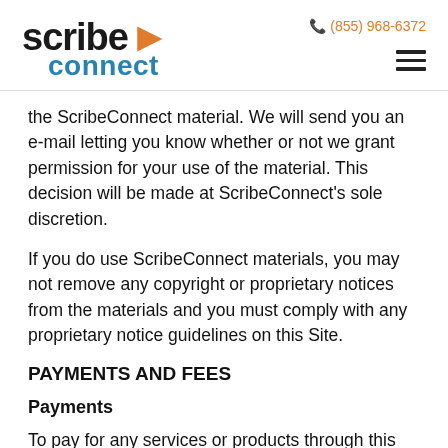[Figure (logo): ScribeConnect logo with orange arrow chevron between 'scribe' and 'connect', with 'connect' in teal/blue below]
✆ (855) 968-6372
the ScribeConnect material. We will send you an e-mail letting you know whether or not we grant permission for your use of the material. This decision will be made at ScribeConnect's sole discretion.
If you do use ScribeConnect materials, you may not remove any copyright or proprietary notices from the materials and you must comply with any proprietary notice guidelines on this Site.
PAYMENTS AND FEES
Payments
To pay for any services or products through this